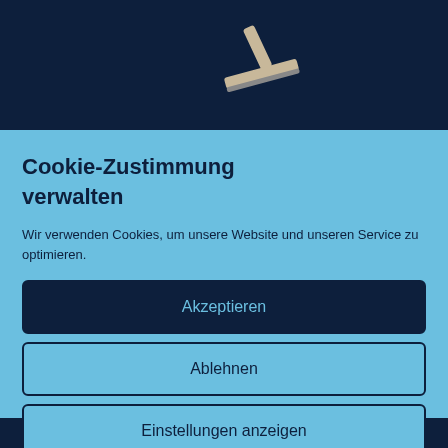[Figure (illustration): Dark navy blue top banner with a squeegee/window cleaning tool icon partially visible at the top center]
Cookie-Zustimmung verwalten
Wir verwenden Cookies, um unsere Website und unseren Service zu optimieren.
Akzeptieren
Ablehnen
Einstellungen anzeigen